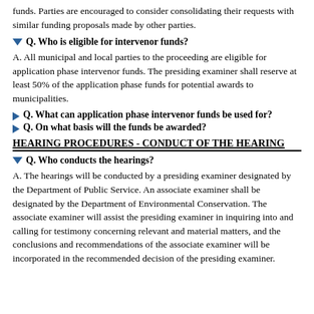funds. Parties are encouraged to consider consolidating their requests with similar funding proposals made by other parties.
Q. Who is eligible for intervenor funds?
A. All municipal and local parties to the proceeding are eligible for application phase intervenor funds. The presiding examiner shall reserve at least 50% of the application phase funds for potential awards to municipalities.
Q. What can application phase intervenor funds be used for?
Q. On what basis will the funds be awarded?
HEARING PROCEDURES - CONDUCT OF THE HEARING
Q. Who conducts the hearings?
A. The hearings will be conducted by a presiding examiner designated by the Department of Public Service. An associate examiner shall be designated by the Department of Environmental Conservation. The associate examiner will assist the presiding examiner in inquiring into and calling for testimony concerning relevant and material matters, and the conclusions and recommendations of the associate examiner will be incorporated in the recommended decision of the presiding examiner.